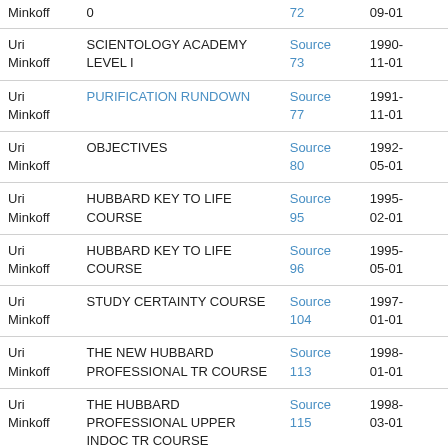| Name | Course | Publication | Date |
| --- | --- | --- | --- |
| Uri Minkoff | 0 | 72 | 09-01 |
| Uri Minkoff | SCIENTOLOGY ACADEMY LEVEL I | Source 73 | 1990-11-01 |
| Uri Minkoff | PURIFICATION RUNDOWN | Source 77 | 1991-11-01 |
| Uri Minkoff | OBJECTIVES | Source 80 | 1992-05-01 |
| Uri Minkoff | HUBBARD KEY TO LIFE COURSE | Source 95 | 1995-02-01 |
| Uri Minkoff | HUBBARD KEY TO LIFE COURSE | Source 96 | 1995-05-01 |
| Uri Minkoff | STUDY CERTAINTY COURSE | Source 104 | 1997-01-01 |
| Uri Minkoff | THE NEW HUBBARD PROFESSIONAL TR COURSE | Source 113 | 1998-01-01 |
| Uri Minkoff | THE HUBBARD PROFESSIONAL UPPER INDOC TR COURSE | Source 115 | 1998-03-01 |